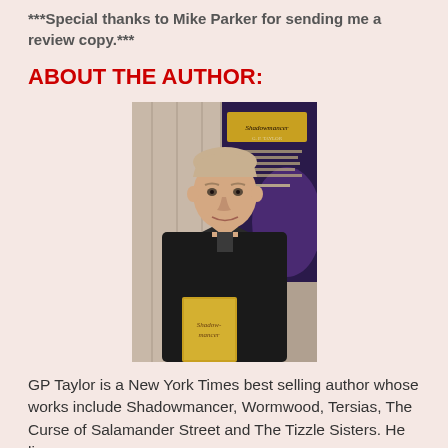***Special thanks to Mike Parker for sending me a review copy.***
ABOUT THE AUTHOR:
[Figure (photo): Photo of GP Taylor, a middle-aged man in a black jacket holding a book, standing in front of a Shadowmancer book display banner.]
GP Taylor is a New York Times best selling author whose works include Shadowmancer, Wormwood, Tersias, The Curse of Salamander Street and The Tizzle Sisters. He lives